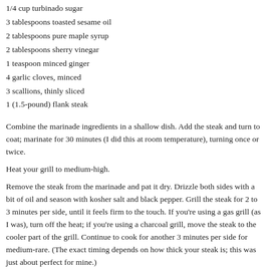1/4 cup turbinado sugar
3 tablespoons toasted sesame oil
2 tablespoons pure maple syrup
2 tablespoons sherry vinegar
1 teaspoon minced ginger
4 garlic cloves, minced
3 scallions, thinly sliced
1 (1.5-pound) flank steak
Combine the marinade ingredients in a shallow dish. Add the steak and turn to coat; marinate for 30 minutes (I did this at room temperature), turning once or twice.
Heat your grill to medium-high.
Remove the steak from the marinade and pat it dry. Drizzle both sides with a bit of oil and season with kosher salt and black pepper. Grill the steak for 2 to 3 minutes per side, until it feels firm to the touch. If you're using a gas grill (as I was), turn off the heat; if you're using a charcoal grill, move the steak to the cooler part of the grill. Continue to cook for another 3 minutes per side for medium-rare. (The exact timing depends on how thick your steak is; this was just about perfect for mine.)
Set aside to rest for 5 minutes, then slice thinly against the grain.
09:11 AM | Permalink
COMMENTS